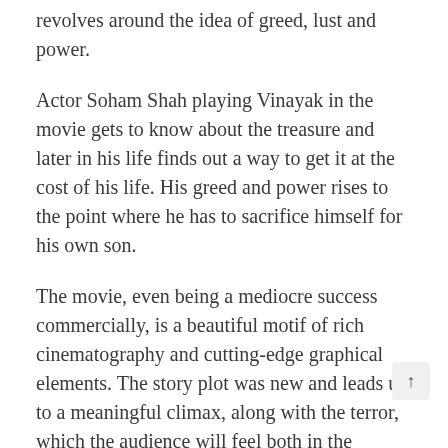revolves around the idea of greed, lust and power.
Actor Soham Shah playing Vinayak in the movie gets to know about the treasure and later in his life finds out a way to get it at the cost of his life. His greed and power rises to the point where he has to sacrifice himself for his own son.
The movie, even being a mediocre success commercially, is a beautiful motif of rich cinematography and cutting-edge graphical elements. The story plot was new and leads up to a meaningful climax, along with the terror, which the audience will feel both in the presence or absence of the demon, Hastar.
The movie’s focal point being the graphics and design, definitely grabbed attention and won Filmfare award for best sound design and for best cinematography along with UFA award for best special effects and Screen award for best